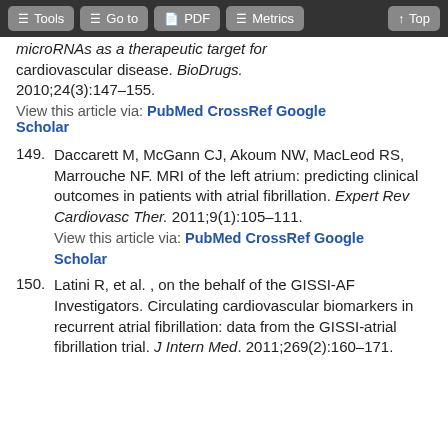Tools | Go to | PDF | Metrics | Top
microRNAs as a therapeutic target for cardiovascular disease. BioDrugs. 2010;24(3):147–155.
View this article via: PubMed CrossRef Google Scholar
149. Daccarett M, McGann CJ, Akoum NW, MacLeod RS, Marrouche NF. MRI of the left atrium: predicting clinical outcomes in patients with atrial fibrillation. Expert Rev Cardiovasc Ther. 2011;9(1):105–111.
View this article via: PubMed CrossRef Google Scholar
150. Latini R, et al. , on the behalf of the GISSI-AF Investigators. Circulating cardiovascular biomarkers in recurrent atrial fibrillation: data from the GISSI-atrial fibrillation trial. J Intern Med. 2011;269(2):160–171.